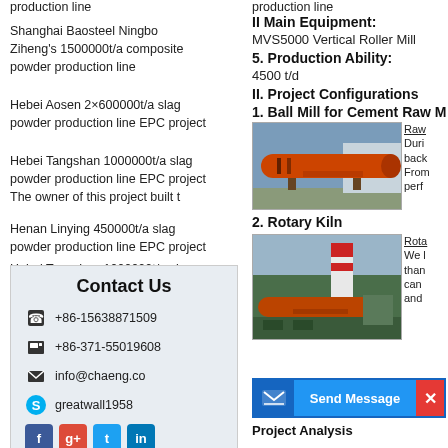production line
Shanghai Baosteel Ningbo Ziheng's 1500000t/a composite powder production line
Hebei Aosen 2×600000t/a slag powder production line EPC project
Hebei Tangshan 1000000t/a slag powder production line EPC project The owner of this project built t
Henan Linying 450000t/a slag powder production line EPC project
Hebei Tangshan 1000000t/a slag powder production line EPC project
Contact Us
+86-15638871509
+86-371-55019608
info@chaeng.co
greatwall1958
production line (partial, top)
II Main Equipment:
MVS5000 Vertical Roller Mill
5. Production Ability:
4500 t/d
II. Project Configurations
1. Ball Mill for Cement Raw M
[Figure (photo): Large orange cylindrical ball mill equipment lying horizontally on transport vehicle]
Raw...
Duri...
back...
From...
perf...
2. Rotary Kiln
[Figure (photo): Rotary kiln industrial equipment with orange cylindrical body, red and white chimney, green machinery surroundings]
Rota...
We l...
than...
can ...
and ...
Send Message
Project Analysis